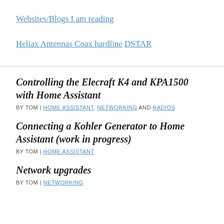Websites/Blogs I am reading
Heliax Antennas Coax hardline
DSTAR
Controlling the Elecraft K4 and KPA1500 with Home Assistant
BY TOM | HOME ASSISTANT, NETWORKING AND RADIOS
Connecting a Kohler Generator to Home Assistant (work in progress)
BY TOM | HOME ASSISTANT
Network upgrades
BY TOM | NETWORKING